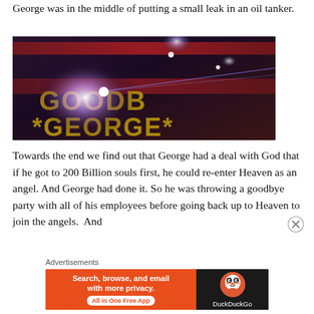George was in the middle of putting a small leak in an oil tanker.
[Figure (photo): Dark atmospheric image showing illuminated text reading 'GOODBYE GEORGE' with lens flare effects against a dark background]
Towards the end we find out that George had a deal with God that if he got to 200 Billion souls first, he could re-enter Heaven as an angel. And George had done it. So he was throwing a goodbye party with all of his employees before going back up to Heaven to join the angels.  And
Advertisements
[Figure (screenshot): DuckDuckGo advertisement banner: 'Search, browse, and email with more privacy. All in One Free App' on orange background with DuckDuckGo logo on dark background]